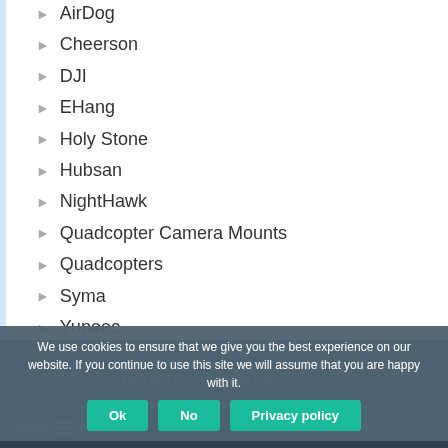AirDog
Cheerson
DJI
EHang
Holy Stone
Hubsan
NightHawk
Quadcopter Camera Mounts
Quadcopters
Syma
Yuneec
We use cookies to ensure that we give you the best experience on our website. If you continue to use this site we will assume that you are happy with it.
© 2022 Best Drones Hub. All Rights Reserved.  Menu  Ok  No  Privacy policy